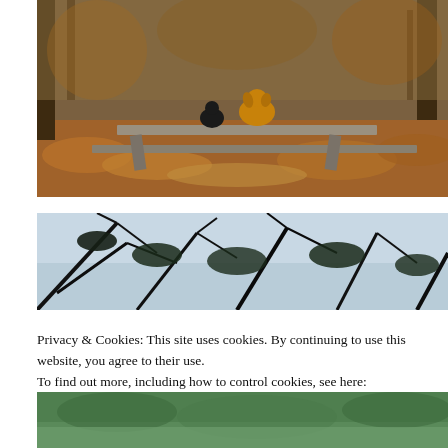[Figure (photo): Two dogs sitting on a concrete picnic table in autumn woods with orange fallen leaves on the ground]
[Figure (photo): Looking up through dark tree branches at a bright sky, silhouetted branches against light background]
Privacy & Cookies: This site uses cookies. By continuing to use this website, you agree to their use.
To find out more, including how to control cookies, see here:
Cookie Policy
[Figure (photo): Partially visible third photograph at bottom, showing green foliage or nature scene]